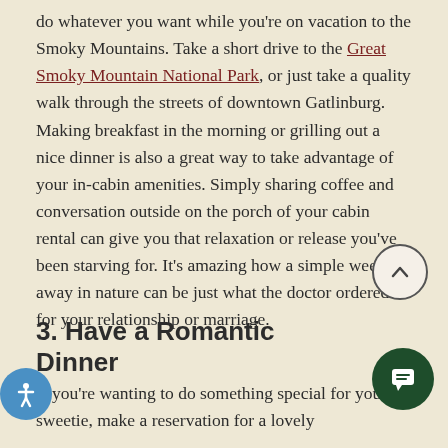do whatever you want while you're on vacation to the Smoky Mountains. Take a short drive to the Great Smoky Mountain National Park, or just take a quality walk through the streets of downtown Gatlinburg. Making breakfast in the morning or grilling out a nice dinner is also a great way to take advantage of your in-cabin amenities. Simply sharing coffee and conversation outside on the porch of your cabin rental can give you that relaxation or release you've been starving for. It's amazing how a simple weekend away in nature can be just what the doctor ordered for your relationship or marriage.
3. Have a Romantic Dinner
If you're wanting to do something special for your sweetie, make a reservation for a lovely